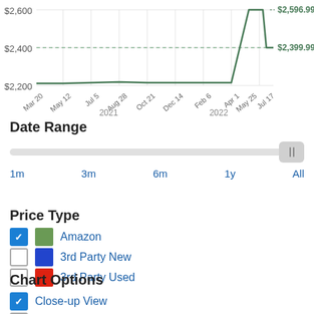[Figure (continuous-plot): Price history line chart showing Amazon price from Mar 20 2021 to Jul 17 2022, with price range ~$2,200 to $2,600. Y-axis labels: $2,200, $2,400, $2,600. X-axis labels: Mar 20, May 12, Jul 5, Aug 28, Oct 21, Dec 14, Feb 6, Apr 1, May 25, Jul 17. Year markers: 2021, 2022. Annotations: $2,596.99 and $2,399.99 on right side.]
Date Range
Slider control with time range options: 1m, 3m, 6m, 1y, All
Price Type
Amazon (checked, green)
3rd Party New (unchecked, blue)
3rd Party Used (unchecked, red)
Chart Options
Close-up View (checked)
Remove Extreme Values (unchecked)